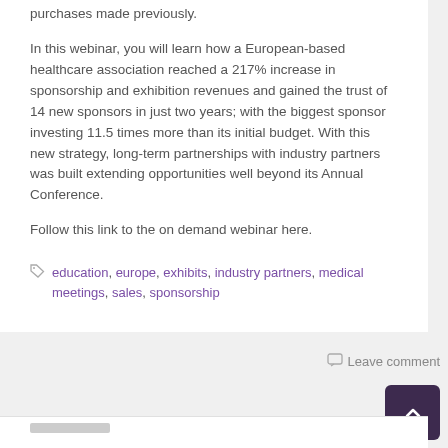purchases made previously.
In this webinar, you will learn how a European-based healthcare association reached a 217% increase in sponsorship and exhibition revenues and gained the trust of 14 new sponsors in just two years; with the biggest sponsor investing 11.5 times more than its initial budget. With this new strategy, long-term partnerships with industry partners was built extending opportunities well beyond its Annual Conference.
Follow this link to the on demand webinar here.
education, europe, exhibits, industry partners, medical meetings, sales, sponsorship